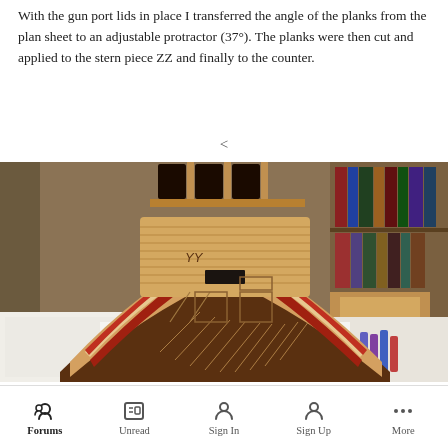With the gun port lids in place I transferred the angle of the planks from the plan sheet to an adjustable protractor (37°).  The planks were then cut and applied to the stern piece ZZ and finally to the counter.
[Figure (photo): Close-up photograph of a wooden ship model stern section on a desk, showing diagonal planking, gun ports, and decorative details. The model is labeled 'YY' and sits on a white surface with bookshelves visible in the background.]
Forums  Unread  Sign In  Sign Up  More